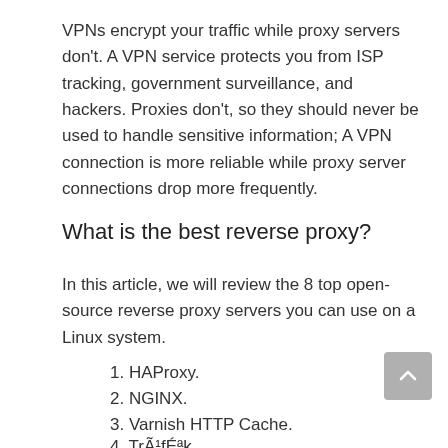VPNs encrypt your traffic while proxy servers don't. A VPN service protects you from ISP tracking, government surveillance, and hackers. Proxies don't, so they should never be used to handle sensitive information; A VPN connection is more reliable while proxy server connections drop more frequently.
What is the best reverse proxy?
In this article, we will review the 8 top open-source reverse proxy servers you can use on a Linux system.
1. HAProxy.
2. NGINX.
3. Varnish HTTP Cache.
4. TrÃ¹fÉªk